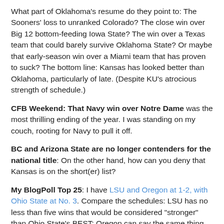What part of Oklahoma's resume do they point to: The Sooners' loss to unranked Colorado? The close win over Big 12 bottom-feeding Iowa State? The win over a Texas team that could barely survive Oklahoma State? Or maybe that early-season win over a Miami team that has proven to suck? The bottom line: Kansas has looked better than Oklahoma, particularly of late. (Despite KU's atrocious strength of schedule.)
CFB Weekend: That Navy win over Notre Dame was the most thrilling ending of the year. I was standing on my couch, rooting for Navy to pull it off.
BC and Arizona State are no longer contenders for the national title: On the other hand, how can you deny that Kansas is on the short(er) list?
My BlogPoll Top 25: I have LSU and Oregon at 1-2, with Ohio State at No. 3. Compare the schedules: LSU has no less than five wins that would be considered "stronger" than Ohio State's BEST; Oregon can say the same thing about three of their wins, minimum.